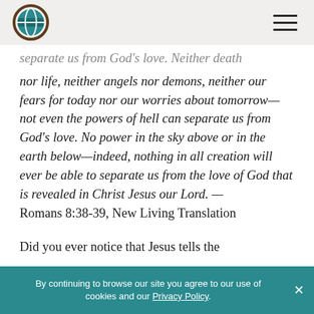[Logo] [Hamburger menu]
separate us from God's love. Neither death nor life, neither angels nor demons, neither our fears for today nor our worries about tomorrow—not even the powers of hell can separate us from God's love. No power in the sky above or in the earth below—indeed, nothing in all creation will ever be able to separate us from the love of God that is revealed in Christ Jesus our Lord. — Romans 8:38-39, New Living Translation
Did you ever notice that Jesus tells the
By continuing to browse our site you agree to our use of cookies and our Privacy Policy. ×